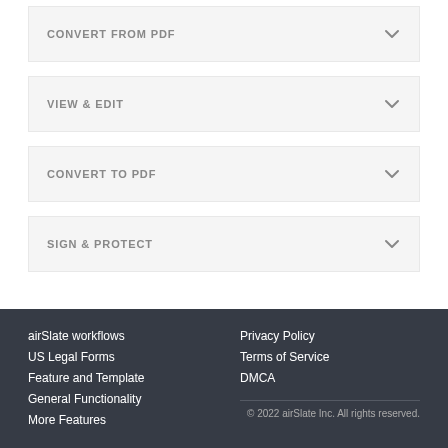CONVERT FROM PDF
VIEW & EDIT
CONVERT TO PDF
SIGN & PROTECT
airSlate workflows
US Legal Forms
Feature and Template
General Functionality
More Features
Privacy Policy
Terms of Service
DMCA
© 2022 airSlate Inc. All rights reserved.